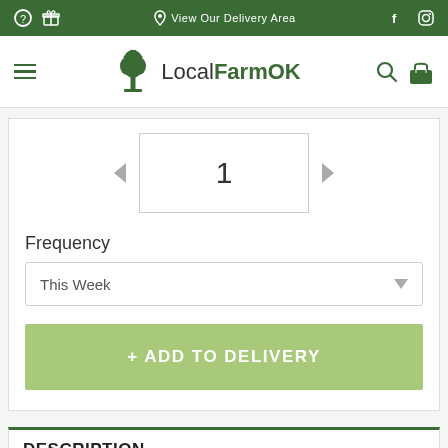View Our Delivery Area
[Figure (screenshot): LocalFarmOK website navigation bar with logo]
1
Frequency
This Week
+ ADD TO DELIVERY
DESCRIPTION